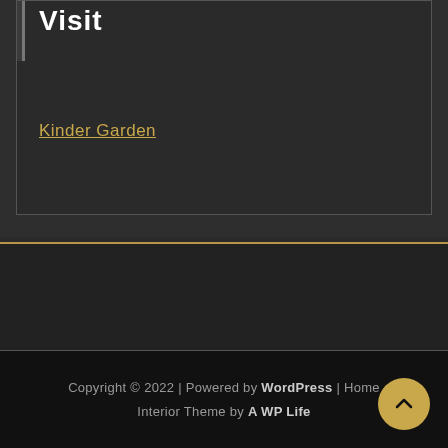Visit
Kinder Garden
Copyright © 2022 | Powered by WordPress | Home Interior Theme by A WP Life